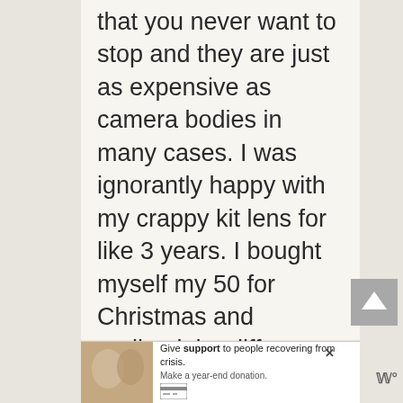that you never want to stop and they are just as expensive as camera bodies in many cases. I was ignorantly happy with my crappy kit lens for like 3 years. I bought myself my 50 for Christmas and realized the different (and better) photos I could get and have been in lens lust ever since lol.
[Figure (screenshot): Advertisement banner: photo of two people, text 'Give support to people recovering from crisis. Make a year-end donation.' with close button and payment icon]